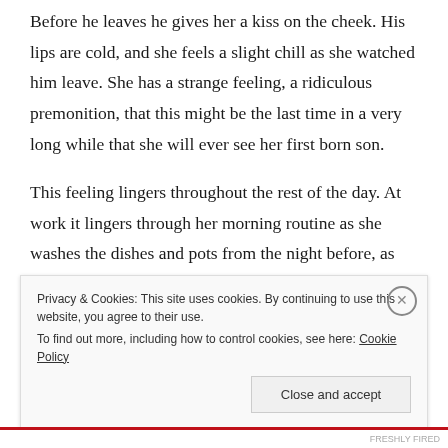Before he leaves he gives her a kiss on the cheek. His lips are cold, and she feels a slight chill as she watched him leave. She has a strange feeling, a ridiculous premonition, that this might be the last time in a very long while that she will ever see her first born son.
This feeling lingers throughout the rest of the day. At work it lingers through her morning routine as she washes the dishes and pots from the night before, as she wipes down the entire kitchen and dusts the huge glass displays in the sitting room, with Mrs Koekemoer
Privacy & Cookies: This site uses cookies. By continuing to use this website, you agree to their use.
To find out more, including how to control cookies, see here: Cookie Policy